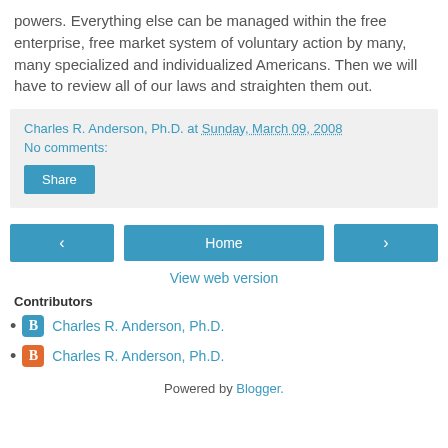powers. Everything else can be managed within the free enterprise, free market system of voluntary action by many, many specialized and individualized Americans. Then we will have to review all of our laws and straighten them out.
Charles R. Anderson, Ph.D. at Sunday, March 09, 2008
No comments:
Share
Home
View web version
Contributors
Charles R. Anderson, Ph.D.
Charles R. Anderson, Ph.D.
Powered by Blogger.